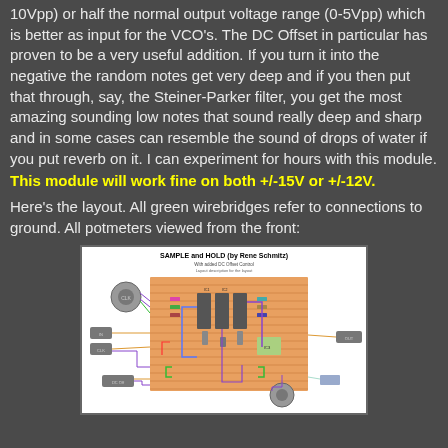10Vpp) or half the normal output voltage range (0-5Vpp) which is better as input for the VCO's. The DC Offset in particular has proven to be a very useful addition. If you turn it into the negative the random notes get very deep and if you then put that through, say, the Steiner-Parker filter, you get the most amazing sounding low notes that sound really deep and sharp and in some cases can resemble the sound of drops of water if you put reverb on it. I can experiment for hours with this module.
This module will work fine on both +/-15V or +/-12V.
Here's the layout. All green wirebridges refer to connections to ground. All potmeters viewed from the front:
[Figure (schematic): Circuit layout diagram titled 'SAMPLE and HOLD (by Rene Schmitz)' with subtitle 'With added DC Offset Control'. Shows an electronic breadboard/stripboard layout with components including potentiometers, capacitors, resistors, and wiring connections. Components on orange stripboard with external connections shown via colored wires. Several gray rectangular components (jacks/pots) are visible on left and right sides.]